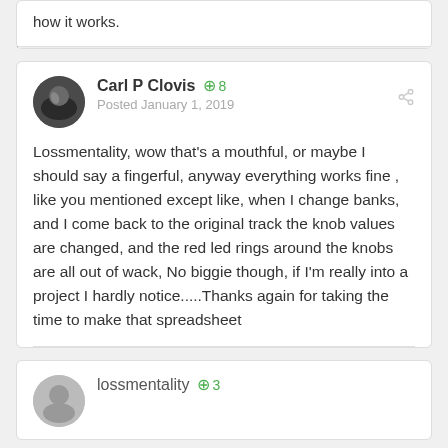how it works.
Lossmentality, wow that's a mouthful, or maybe I should say a fingerful, anyway everything works fine , like you mentioned except like, when I change banks, and I come back to the original track the knob values are changed,  and the red led rings around the knobs are all out of wack, No biggie though, if I'm really into a project I hardly notice.....Thanks again for taking the time to make that spreadsheet
lossmentality  +3